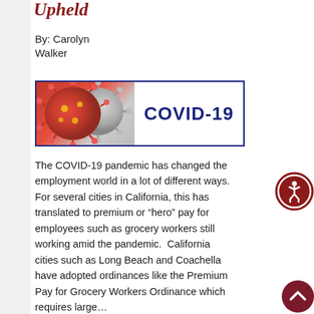Upheld
By: Carolyn Walker
[Figure (photo): COVID-19 banner image showing a red and gray coronavirus particle on the left and the text 'COVID-19' in bold dark blue on the right, framed with a dark blue border.]
The COVID-19 pandemic has changed the employment world in a lot of different ways.  For several cities in California, this has translated to premium or “hero” pay for employees such as grocery workers still working amid the pandemic.  California cities such as Long Beach and Coachella have adopted ordinances like the Premium Pay for Grocery Workers Ordinance which requires large…